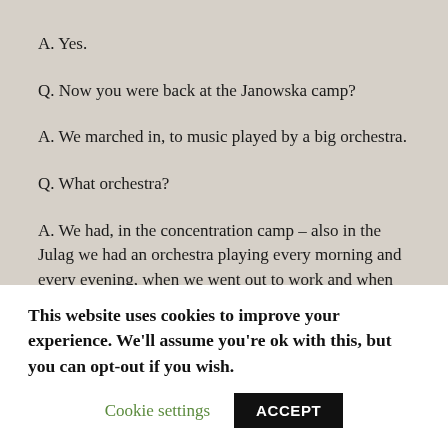A. Yes.
Q. Now you were back at the Janowska camp?
A. We marched in, to music played by a big orchestra.
Q. What orchestra?
A. We had, in the concentration camp – also in the Julag we had an orchestra playing every morning and every evening, when we went out to work and when we returned from work and
This website uses cookies to improve your experience. We'll assume you're ok with this, but you can opt-out if you wish.
Cookie settings
ACCEPT